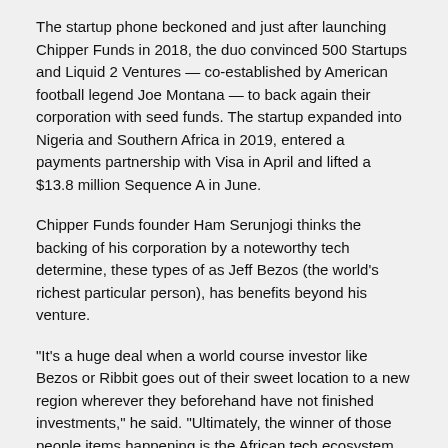The startup phone beckoned and just after launching Chipper Funds in 2018, the duo convinced 500 Startups and Liquid 2 Ventures — co-established by American football legend Joe Montana — to back again their corporation with seed funds. The startup expanded into Nigeria and Southern Africa in 2019, entered a payments partnership with Visa in April and lifted a $13.8 million Sequence A in June.
Chipper Funds founder Ham Serunjogi thinks the backing of his corporation by a noteworthy tech determine, these types of as Jeff Bezos (the world's richest particular person), has benefits beyond his venture.
“It’s a huge deal when a world course investor like Bezos or Ribbit goes out of their sweet location to a new region wherever they beforehand have not finished investments,” he said. “Ultimately, the winner of those people items happening is the African tech ecosystem all round, as it will carry far more investment from firms of that caliber to African startups.”
Source website link
Panasonic explores a European battery deal with Norway’s largest energy and industrial companies – TechCrunch